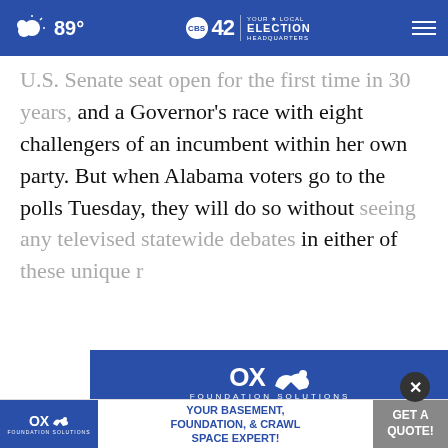89° CBS42 YOUR LOCAL ELECTION HEADQUARTERS
U.S. Senate seat open for the first time in 30 years, and a Governor's race with eight challengers of an incumbent within her own party. But when Alabama voters go to the polls Tuesday, they will do so without seeing any televised statewide debates in either of these unique r...
CONTINUE READING
[Figure (other): OX Foundation Solutions advertisement banner with blue background, OX logo with bull, text: YOUR BASEMENT FOUNDATION &]
[Figure (other): OX Foundation Solutions bottom sticky banner ad: YOUR BASEMENT, FOUNDATION, & CRAWL SPACE EXPERT! with GET A QUOTE button]